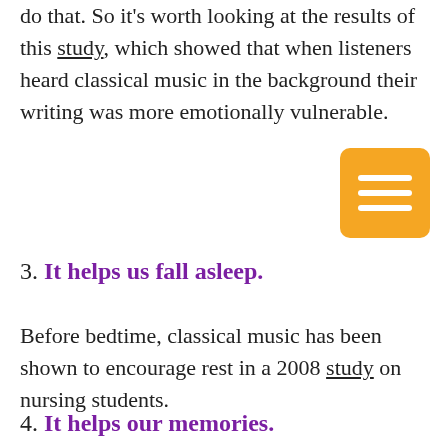do that. So it's worth looking at the results of this study, which showed that when listeners heard classical music in the background their writing was more emotionally vulnerable.
[Figure (other): Orange/amber rounded square icon with three horizontal white lines (hamburger/menu icon)]
3. It helps us fall asleep.
Before bedtime, classical music has been shown to encourage rest in a 2008 study on nursing students.
4. It helps our memories.